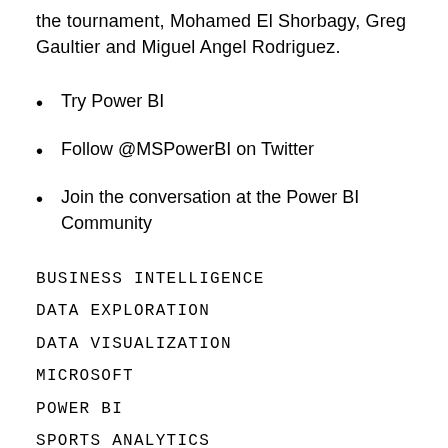the tournament, Mohamed El Shorbagy, Greg Gaultier and Miguel Angel Rodriguez.
Try Power BI
Follow @MSPowerBI on Twitter
Join the conversation at the Power BI Community
BUSINESS INTELLIGENCE
DATA EXPLORATION
DATA VISUALIZATION
MICROSOFT
POWER BI
SPORTS ANALYTICS
SQUASH
WORLD CUP